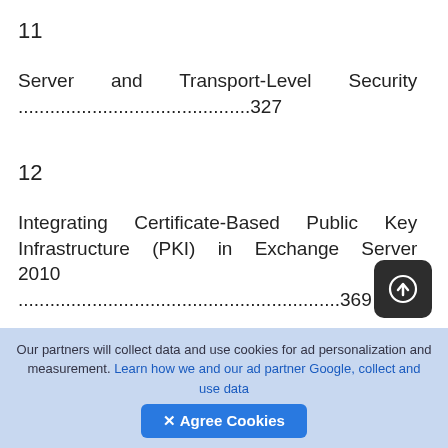11
Server and Transport-Level Security ............................................327
12
Integrating Certificate-Based Public Key Infrastructure (PKI) in Exchange Server 2010 .............................................................369
13
Securing Exchange Server 2010 with ISA Server
Our partners will collect data and use cookies for ad personalization and measurement. Learn how we and our ad partner Google, collect and use data   ✕ Agree Cookies